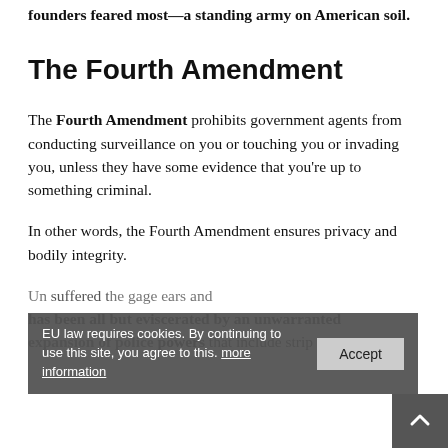founders feared most—a standing army on American soil.
The Fourth Amendment
The Fourth Amendment prohibits government agents from conducting surveillance on you or touching you or invading you, unless they have some evidence that you're up to something criminal.
In other words, the Fourth Amendment ensures privacy and bodily integrity.
Unfortunately, the Fourth Amendment has suffered the greatest damage over the years and has been all but eviscerated by an unwarranted expansion of police powers that include strip
EU law requires cookies. By continuing to use this site, you agree to this. more information  Accept